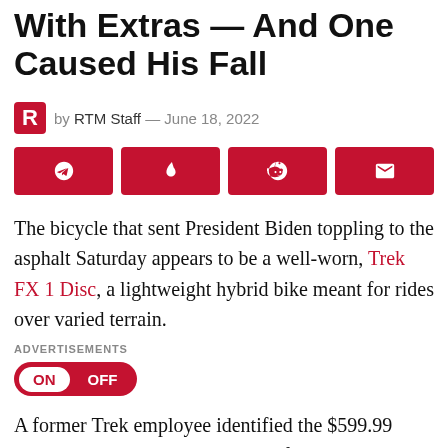With Extras — And One Caused His Fall
by RTM Staff — June 18, 2022
[Figure (infographic): Social share buttons: Telegram, Medium/Instapaper, Reddit, Email — all red rectangles with white icons]
The bicycle that sent President Biden toppling to the asphalt Saturday appears to be a well-worn, Trek FX 1 Disc, a lightweight hybrid bike meant for rides over varied terrain.
ADVERTISEMENTS
ON  OFF
A former Trek employee identified the $599.99 model to The Post with "high confidence," but cautioned "it's